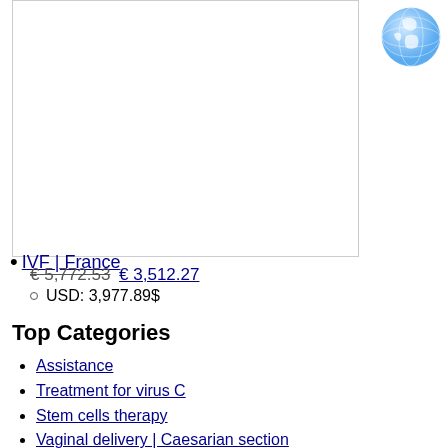[Figure (photo): Rectangular image placeholder with border, partially visible on left side of page]
[Figure (illustration): Globe/earth icon in blue, top right corner]
IVF | France
€ 5,772.53 € 3,512.27
• USD: 3,977.89$
Top Categories
Assistance
Treatment for virus C
Stem cells therapy
Vaginal delivery | Caesarian section
Treatment for cancer
Treatment for infertility